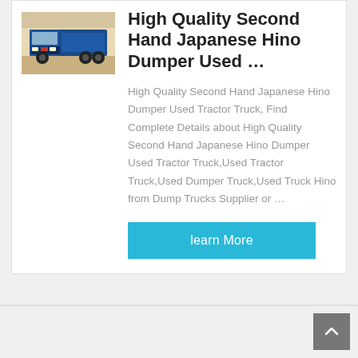[Figure (photo): A blue dump/tractor truck photographed from the front, parked on sandy ground with a light-colored wall in background.]
High Quality Second Hand Japanese Hino Dumper Used …
High Quality Second Hand Japanese Hino Dumper Used Tractor Truck, Find Complete Details about High Quality Second Hand Japanese Hino Dumper Used Tractor Truck,Used Tractor Truck,Used Dumper Truck,Used Truck Hino from Dump Trucks Supplier or …
learn More